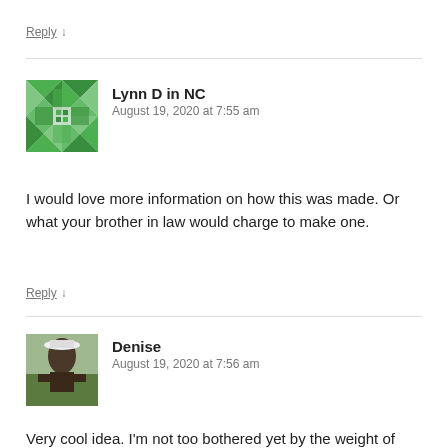Reply ↓
[Figure (illustration): Green quilt-pattern avatar icon for Lynn D in NC]
Lynn D in NC
August 19, 2020 at 7:55 am
I would love more information on how this was made. Or what your brother in law would charge to make one.
Reply ↓
[Figure (photo): Profile photo of Denise, person wearing hat outdoors]
Denise
August 19, 2020 at 7:56 am
Very cool idea. I'm not too bothered yet by the weight of